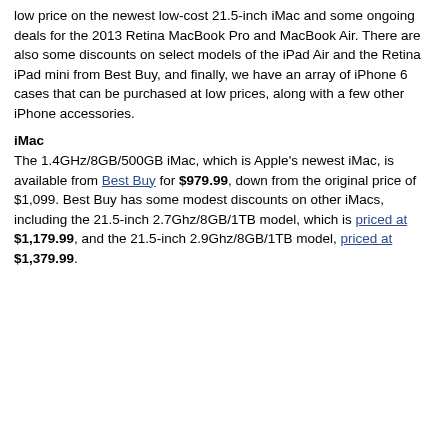low price on the newest low-cost 21.5-inch iMac and some ongoing deals for the 2013 Retina MacBook Pro and MacBook Air. There are also some discounts on select models of the iPad Air and the Retina iPad mini from Best Buy, and finally, we have an array of iPhone 6 cases that can be purchased at low prices, along with a few other iPhone accessories.
iMac
The 1.4GHz/8GB/500GB iMac, which is Apple's newest iMac, is available from Best Buy for $979.99, down from the original price of $1,099. Best Buy has some modest discounts on other iMacs, including the 21.5-inch 2.7Ghz/8GB/1TB model, which is priced at $1,179.99, and the 21.5-inch 2.9Ghz/8GB/1TB model, priced at $1,379.99.